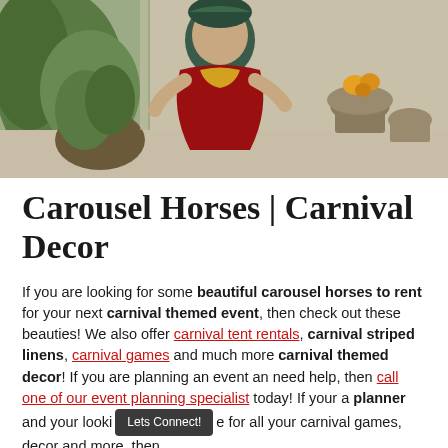[Figure (photo): Photo of a decorative carousel horse figure dressed in colorful red and gold costume, positioned outdoors among potted plants and flowers on a patio setting.]
Carousel Horses | Carnival Decor
If you are looking for some beautiful carousel horses to rent for your next carnival themed event, then check out these beauties! We also offer carnival tent rentals, carnival striped linens, carnival games and much more carnival themed decor! If you are planning an event an need help, then call one of our event planning specialist today! If your a planner and your looking for all your carnival games, decor and more, then